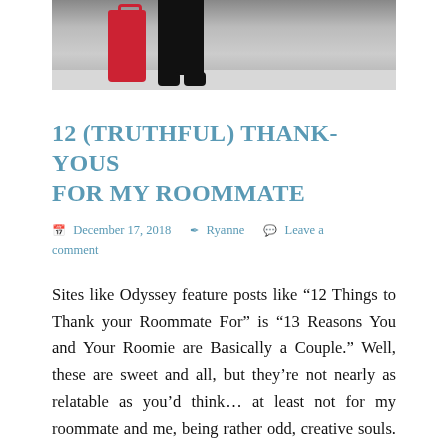[Figure (photo): Bottom portion of a person standing next to a red rolling suitcase, wearing black pants and black shoes, on a light gray floor.]
12 (TRUTHFUL) THANK-YOUS FOR MY ROOMMATE
December 17, 2018  Ryanne  Leave a comment
Sites like Odyssey feature posts like “12 Things to Thank your Roommate For” is “13 Reasons You and Your Roomie are Basically a Couple.” Well, these are sweet and all, but they’re not nearly as relatable as you’d think… at least not for my roommate and me, being rather odd, creative souls. And so, inspired to